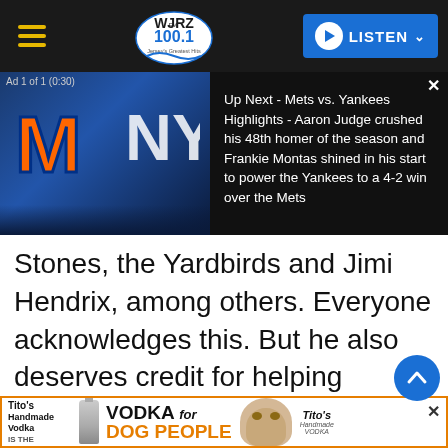WJRZ FM 100.1 - Jersey's Greatest Hits | LISTEN
[Figure (screenshot): Ad video player showing Mets vs. Yankees logos with text: Ad 1 of 1 (0:30) | Up Next - Mets vs. Yankees Highlights - Aaron Judge crushed his 48th homer of the season and Frankie Montas shined in his start to power the Yankees to a 4-2 win over the Mets]
Stones, the Yardbirds and Jimi Hendrix, among others. Everyone acknowledges this. But he also deserves credit for helping expose America to Jamaican reggae music. In 1974-1975, he recorded a bunch of reggae songs, and while this Peter Tosh cover wasn't the most successful one (we'll get to *that* song later), "Whatcha Gonna Do" shows his love of
[Figure (screenshot): Bottom advertisement banner for Tito's Handmade Vodka - VODKA for DOG PEOPLE - IS THE with dog image and Tito's logo]